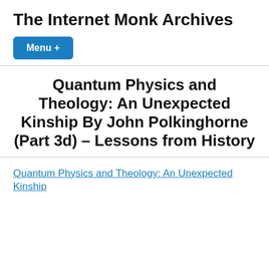The Internet Monk Archives
[Figure (other): Blue rounded rectangle button labeled 'Menu +']
Quantum Physics and Theology: An Unexpected Kinship By John Polkinghorne (Part 3d) – Lessons from History
Quantum Physics and Theology: An Unexpected Kinship